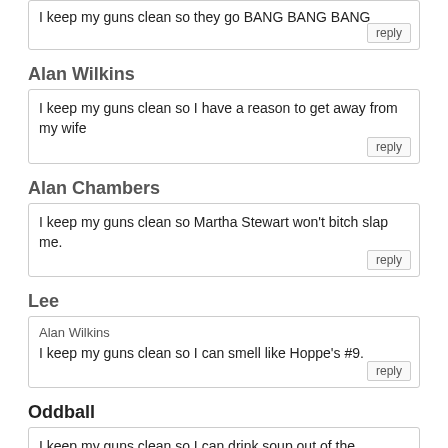I keep my guns clean so they go BANG BANG BANG
Alan Wilkins
I keep my guns clean so I have a reason to get away from my wife
Alan Chambers
I keep my guns clean so Martha Stewart won't bitch slap me.
Lee
Alan Wilkins
I keep my guns clean so I can smell like Hoppe's #9.
Oddball
I keep my guns clean so I can drink soup out of the magazines if I wanted.